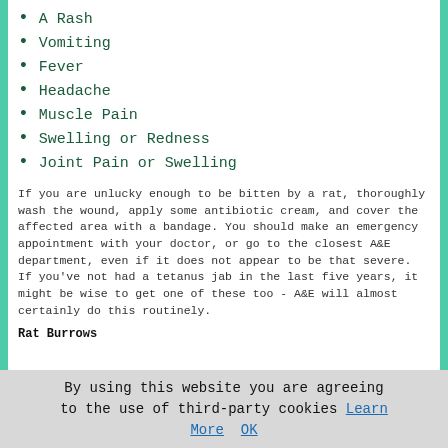A Rash
Vomiting
Fever
Headache
Muscle Pain
Swelling or Redness
Joint Pain or Swelling
If you are unlucky enough to be bitten by a rat, thoroughly wash the wound, apply some antibiotic cream, and cover the affected area with a bandage. You should make an emergency appointment with your doctor, or go to the closest A&E department, even if it does not appear to be that severe. If you've not had a tetanus jab in the last five years, it might be wise to get one of these too - A&E will almost certainly do this routinely.
Rat Burrows
By using this website you are agreeing to the use of third-party cookies Learn More  OK